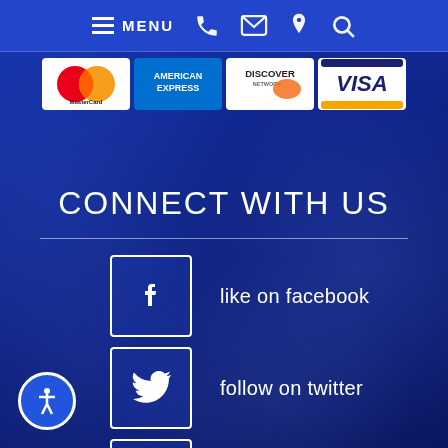MENU (navigation bar with phone, email, location, search icons)
[Figure (logo): Payment logos: MasterCard, American Express, Discover, Visa]
CONNECT WITH US
like on facebook
follow on twitter
connect on linkedin